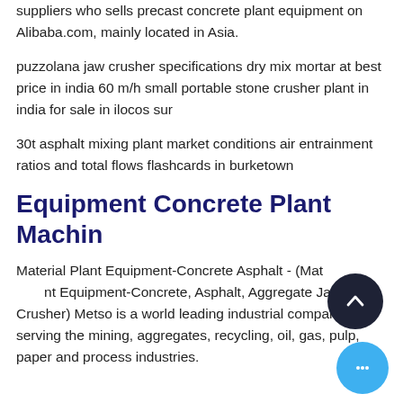suppliers who sells precast concrete plant equipment on Alibaba.com, mainly located in Asia.
puzzolana jaw crusher specifications dry mix mortar at best price in india 60 m/h small portable stone crusher plant in india for sale in ilocos sur
30t asphalt mixing plant market conditions air entrainment ratios and total flows flashcards in burketown
Equipment Concrete Plant Machin
Material Plant Equipment-Concrete Asphalt - (Material Plant Equipment-Concrete, Asphalt, Aggregate Jaw Crusher) Metso is a world leading industrial company serving the mining, aggregates, recycling, oil, gas, pulp, paper and process industries.